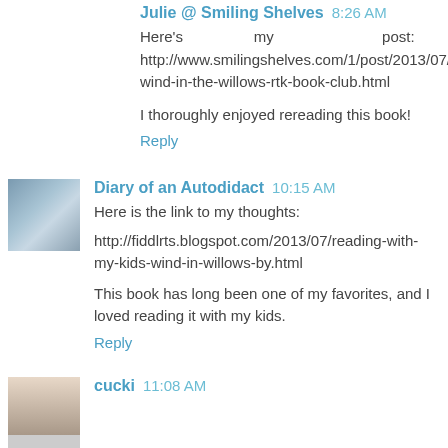Julie @ Smiling Shelves 8:26 AM
Here's my post: http://www.smilingshelves.com/1/post/2013/07/the-wind-in-the-willows-rtk-book-club.html
I thoroughly enjoyed rereading this book!
Reply
Diary of an Autodidact 10:15 AM
Here is the link to my thoughts:
http://fiddlrts.blogspot.com/2013/07/reading-with-my-kids-wind-in-willows-by.html
This book has long been one of my favorites, and I loved reading it with my kids.
Reply
cucki 11:08 AM